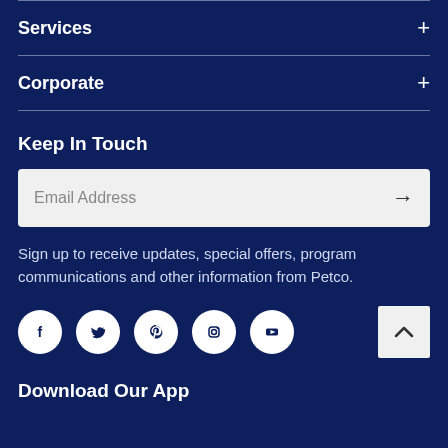Services
Corporate
Keep In Touch
Email Address
Sign up to receive updates, special offers, program communications and other information from Petco.
[Figure (illustration): Social media icons: Facebook, Twitter, Pinterest, Instagram, YouTube — white icons on dark navy circles]
Download Our App